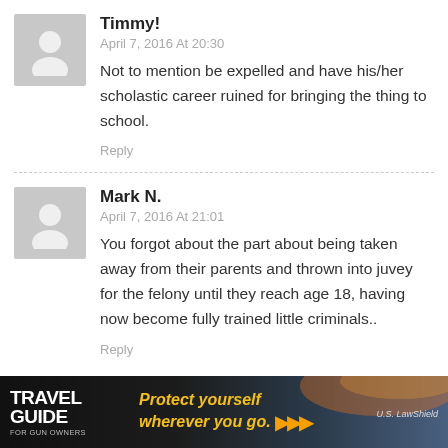Timmy!
April 7, 2016 At 20:30
Not to mention be expelled and have his/her scholastic career ruined for bringing the thing to school.
Reply
Mark N.
April 7, 2016 At 21:01
You forgot about the part about being taken away from their parents and thrown into juvey for the felony until they reach age 18, having now become fully trained little criminals..
Reply
[Figure (photo): Advertisement banner: Travel Guide for Gun Owners — Protect yourself wherever you go. U.S. LawShield]